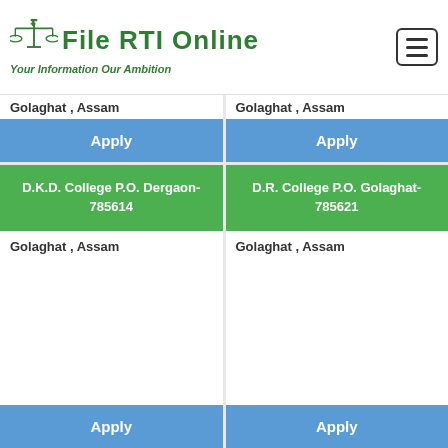[Figure (logo): File RTI Online logo with balance scale icon and tagline 'Your Information Our Ambition' in green]
Golaghat , Assam
Golaghat , Assam
Apply
Apply
D.K.D. College P.O. Dergaon- 785614
D.R. College P.O. Golaghat- 785621
Golaghat , Assam
Golaghat , Assam
Apply
Apply